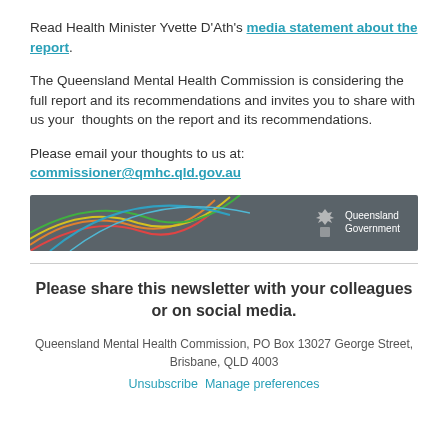Read Health Minister Yvette D'Ath's media statement about the report.
The Queensland Mental Health Commission is considering the full report and its recommendations and invites you to share with us your thoughts on the report and its recommendations.
Please email your thoughts to us at: commissioner@qmhc.qld.gov.au
[Figure (logo): Queensland Government banner with colourful curved lines on dark grey background and Queensland Government logo on the right]
Please share this newsletter with your colleagues or on social media.
Queensland Mental Health Commission, PO Box 13027 George Street, Brisbane, QLD 4003
Unsubscribe  Manage preferences